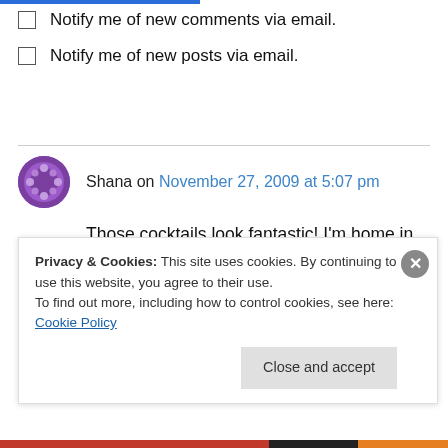Notify me of new comments via email.
Notify me of new posts via email.
Shana on November 27, 2009 at 5:07 pm
Those cocktails look fantastic! I’m home in Connecticut for the holidays and brought back a bottle of the new Seagram’s 7 Dark Honey. I’m not sure if its available yet in CT but it slowing
Privacy & Cookies: This site uses cookies. By continuing to use this website, you agree to their use.
To find out more, including how to control cookies, see here: Cookie Policy
Close and accept